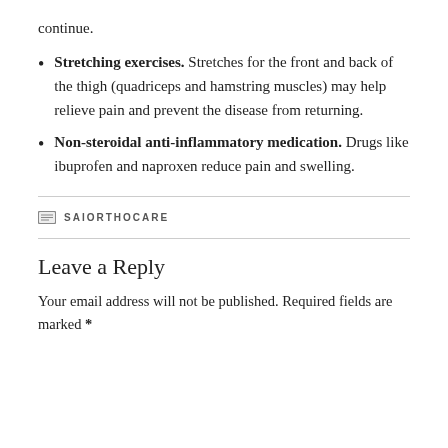continue.
Stretching exercises. Stretches for the front and back of the thigh (quadriceps and hamstring muscles) may help relieve pain and prevent the disease from returning.
Non-steroidal anti-inflammatory medication. Drugs like ibuprofen and naproxen reduce pain and swelling.
SAIORTHOCARE
Leave a Reply
Your email address will not be published. Required fields are marked *